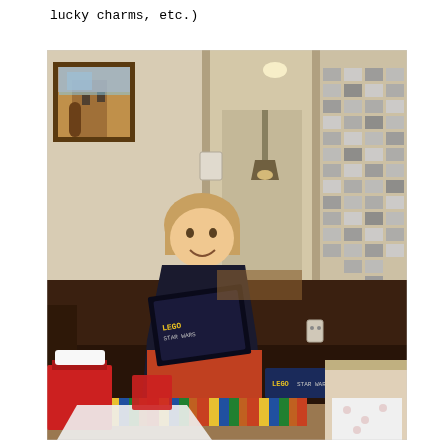lucky charms, etc.)
[Figure (photo): A young boy with short blonde hair wearing a dark t-shirt and red shorts sits on a dark brown leather couch, smiling while looking at a LEGO Star Wars box he is holding. Behind him on the left wall is a framed landscape painting. In the center background is a doorway leading to another room with a hanging light fixture. On the right wall is a large collage of printed photos. On the floor in front of the couch are gift bags, wrapping paper, and a striped rug. Christmas/birthday gift opening scene.]